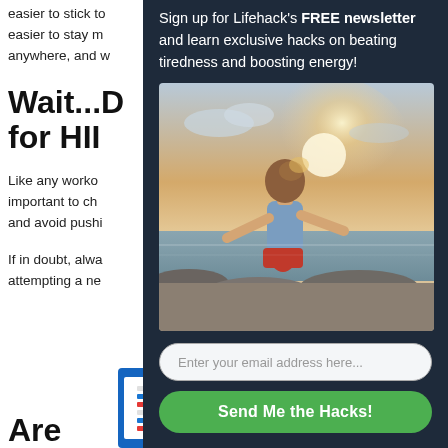easier to stick to
easier to stay m
anywhere, and w
Wait...D
for HII
Like any worko important to ch and avoid pushi
If in doubt, alwa attempting a ne
Are
Sign up for Lifehack's FREE newsletter and learn exclusive hacks on beating tiredness and boosting energy!
[Figure (photo): Woman standing on rocky beach with arms outstretched, facing the ocean with sunlight behind her, wearing a blue top and red skirt]
Enter your email address here...
Send Me the Hacks!